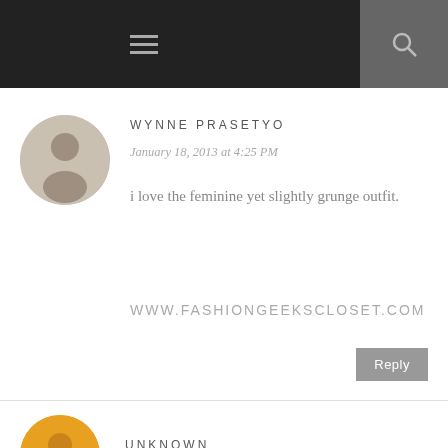≡  🔍
WYNNE PRASETYO
January 18, 2013 at 4:25 PM
i love the feminine yet slightly grunge outfit.
WWW.FASHIONGEEKSCLOSET.COM
Reply
UNKNOWN